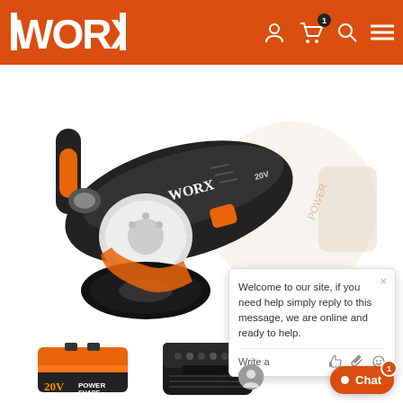[Figure (logo): WORX brand logo in white text on orange header background]
[Figure (photo): WORX 20V cordless angle grinder with orange and black color scheme, shown with a ghosted duplicate image in the background]
[Figure (photo): WORX 20V battery pack, orange and black]
[Figure (photo): WORX battery charger, black with LED indicators]
Welcome to our site, if you need help simply reply to this message, we are online and ready to help.
Write a
Chat